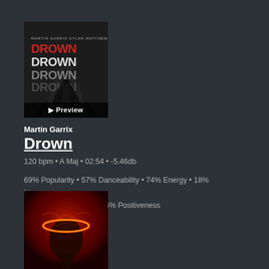[Figure (photo): Album art for 'Drown' by Martin Garrix showing silhouettes of people with 'DROWN' text repeated in red/white, with a Preview button overlay]
Martin Garrix
Drown
120 bpm • A Maj • 02:54 • -5.46db
69% Popularity • 57% Danceability • 74% Energy • 18% Liveness
0% Instrumentalness • 36% Positiveness
[Figure (photo): Album art showing a person with a glowing red/orange halo ring around their head against a dark red background]